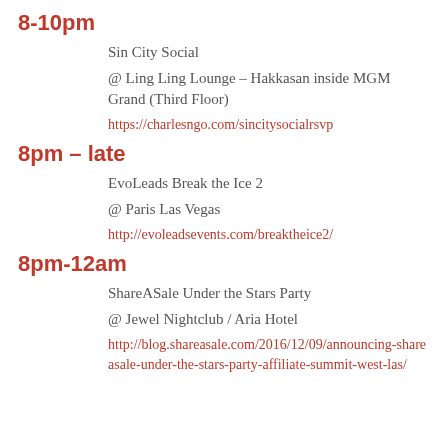8-10pm
Sin City Social
@ Ling Ling Lounge – Hakkasan inside MGM Grand (Third Floor)
https://charlesngo.com/sincitysocialrsvp
8pm – late
EvoLeads Break the Ice 2
@ Paris Las Vegas
http://evoleadsevents.com/breaktheice2/
8pm-12am
ShareASale Under the Stars Party
@ Jewel Nightclub / Aria Hotel
http://blog.shareasale.com/2016/12/09/announcing-shareasale-under-the-stars-party-affiliate-summit-west-las/